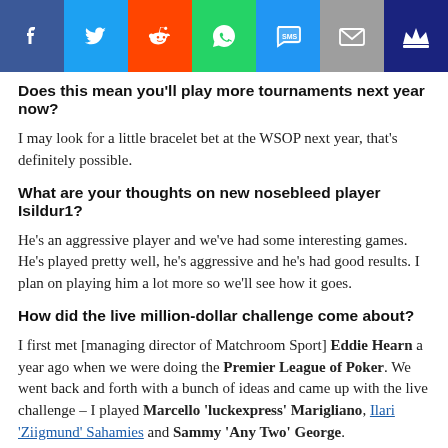[Figure (infographic): Social sharing bar with icons: Facebook (blue), Twitter (light blue), Reddit (orange), WhatsApp (green), SMS (blue), Email (grey), Crown/VIP (dark blue)]
Does this mean you'll play more tournaments next year now?
I may look for a little bracelet bet at the WSOP next year, that's definitely possible.
What are your thoughts on new nosebleed player Isildur1?
He's an aggressive player and we've had some interesting games. He's played pretty well, he's aggressive and he's had good results. I plan on playing him a lot more so we'll see how it goes.
How did the live million-dollar challenge come about?
I first met [managing director of Matchroom Sport] Eddie Hearn a year ago when we were doing the Premier League of Poker. We went back and forth with a bunch of ideas and came up with the live challenge – I played Marcello 'luckexpress' Marigliano, Ilari 'Ziigmund' Sahamies and Sammy 'Any Two' George.
We heard you won about $750,000 off Sammy George…
I ran very good against Sammy. He has a reputation for being a fish in poker but – I hope he doesn't mind me outing him here – he's actually a